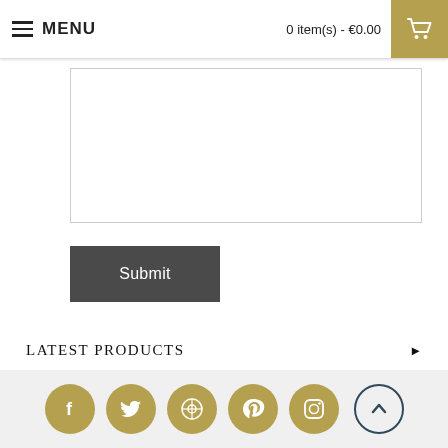MENU  |  0 item(s) - €0.00
[Figure (screenshot): Text input area (textarea form field), empty]
Submit
LATEST PRODUCTS
SPECIAL OFFERS
LATEST BLOG POSTS
POPULAR BLOG POSTS
[Figure (infographic): Social media icons row: Facebook, Twitter, WordPress, Pinterest, Instagram (gold circles), and a scroll-to-top up-arrow button (dark teal circle)]